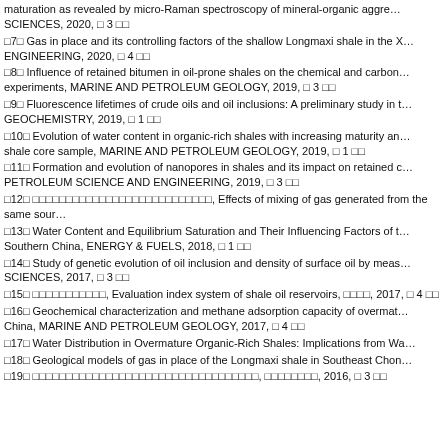maturation as revealed by micro-Raman spectroscopy of mineral-organic aggre... SCIENCES, 2020, □ 3 □□
□7□ Gas in place and its controlling factors of the shallow Longmaxi shale in the X... ENGINEERING, 2020, □ 4 □□
□8□ Influence of retained bitumen in oil-prone shales on the chemical and carbon... experiments, MARINE AND PETROLEUM GEOLOGY, 2019, □ 3 □□
□9□ Fluorescence lifetimes of crude oils and oil inclusions: A preliminary study in t... GEOCHEMISTRY, 2019, □ 1 □□
□10□ Evolution of water content in organic-rich shales with increasing maturity an... shale core sample, MARINE AND PETROLEUM GEOLOGY, 2019, □ 1 □□
□11□ Formation and evolution of nanopores in shales and its impact on retained c... PETROLEUM SCIENCE AND ENGINEERING, 2019, □ 3 □□
□12□ □□□□□□□□□□□□□□□□□□□□□□□□□□□, Effects of mixing of gas generated from the same sour...
□13□ Water Content and Equilibrium Saturation and Their Influencing Factors of t... Southern China, ENERGY & FUELS, 2018, □ 1 □□
□14□ Study of genetic evolution of oil inclusion and density of surface oil by meas... SCIENCES, 2017, □ 3 □□
□15□ □□□□□□□□□□□, Evaluation index system of shale oil reservoirs, □□□□, 2017, □ 4 □□
□16□ Geochemical characterization and methane adsorption capacity of overmat... China, MARINE AND PETROLEUM GEOLOGY, 2017, □ 4 □□
□17□ Water Distribution in Overmature Organic-Rich Shales: Implications from Wa...
□18□ Geological models of gas in place of the Longmaxi shale in Southeast Chon...
□19□ □□□□□□□□□□□□□□□□□□□□□□□□□□□□□□□□□□, □□□□□□□□, 2016, □ 3 □□